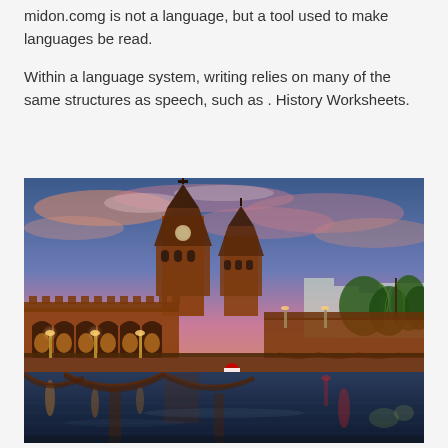midon.comg is not a language, but a tool used to make languages be read.
Within a language system, writing relies on many of the same structures as speech, such as . History Worksheets.
[Figure (photo): Night photograph of the Oberbaum Bridge in Berlin, Germany, with illuminated brick arches, two gothic towers, reflected lights on the river Spree, dramatic pink and blue sunset sky in the background.]